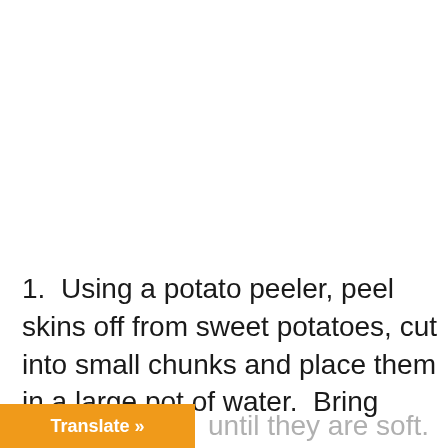1.  Using a potato peeler, peel skins off from sweet potatoes, cut into small chunks and place them in a large pot of water.  Bring water to boil and boil potatoes for about 20 until they are soft.